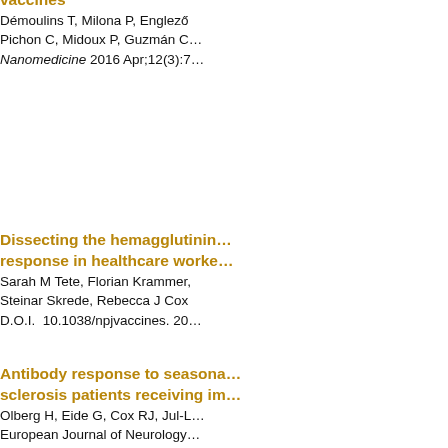Vaccines
Démoulins T, Milona P, Englez… Pichon C, Midoux P, Guzmán C…
Nanomedicine 2016 Apr;12(3):7…
Dissecting the hemagglutinin… response in healthcare worke…
Sarah M Tete, Florian Krammer, Steinar Skrede, Rebecca J Cox
D.O.I.  10.1038/npjvaccines. 20…
Antibody response to seasona… sclerosis patients receiving im…
Olberg H, Eide G, Cox RJ, Jul-L…
European Journal of Neurology… 534; DOI:10.1111/ene.13537
Humoral, T-cell and B-cell imm… vaccine in solid organ transpl… therapies
Delphine Héquet, Manuel Paso…